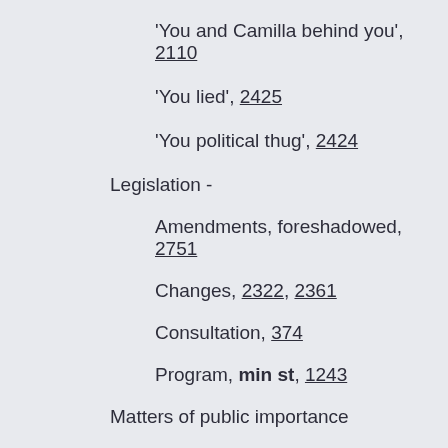'You and Camilla behind you', 2110
'You lied', 2425
'You political thug', 2424
Legislation -
Amendments, foreshadowed, 2751
Changes, 2322, 2361
Consultation, 374
Program, min st, 1243
Matters of public importance
Commercial and Tenancy Tribunal legislation,166